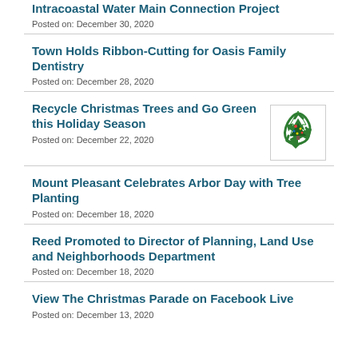Intracoastal Water Main Connection Project
Posted on: December 30, 2020
Town Holds Ribbon-Cutting for Oasis Family Dentistry
Posted on: December 28, 2020
Recycle Christmas Trees and Go Green this Holiday Season
Posted on: December 22, 2020
[Figure (illustration): Recycling symbol with a Christmas tree inside, green arrows forming a triangle around a decorated tree]
Mount Pleasant Celebrates Arbor Day with Tree Planting
Posted on: December 18, 2020
Reed Promoted to Director of Planning, Land Use and Neighborhoods Department
Posted on: December 18, 2020
View The Christmas Parade on Facebook Live
Posted on: December 13, 2020